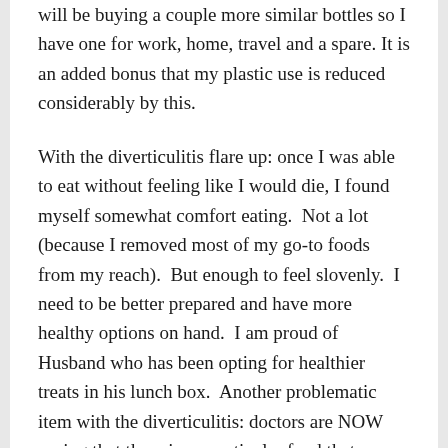will be buying a couple more similar bottles so I have one for work, home, travel and a spare. It is an added bonus that my plastic use is reduced considerably by this.
With the diverticulitis flare up: once I was able to eat without feeling like I would die, I found myself somewhat comfort eating.  Not a lot (because I removed most of my go-to foods from my reach).  But enough to feel slovenly.  I need to be better prepared and have more healthy options on hand.  I am proud of Husband who has been opting for healthier treats in his lunch box.  Another problematic item with the diverticulitis: doctors are NOW saying that there is no particular food that causes the issue to flare up, it just happens.  Previously patients were told to avoid nuts, seeds, corn and other hard to digest foods.  In